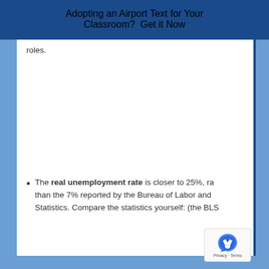Adopting an Airport Text for Your Classroom? Get it Now
roles.
The real unemployment rate is closer to 25%, rather than the 7% reported by the Bureau of Labor and Statistics. Compare the statistics yourself: (the BLS